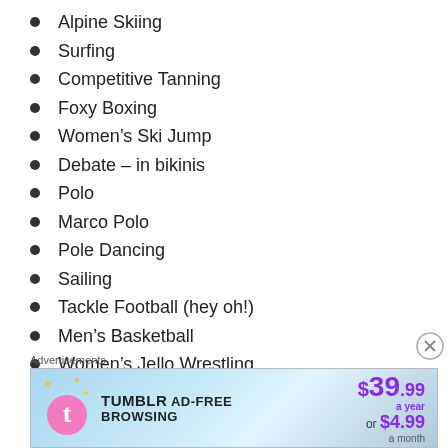Alpine Skiing
Surfing
Competitive Tanning
Foxy Boxing
Women’s Ski Jump
Debate – in bikinis
Polo
Marco Polo
Pole Dancing
Sailing
Tackle Football (hey oh!)
Men’s Basketball
Women’s Jello Wrestling
Deep Sea Fishing
Advertisements
[Figure (infographic): Tumblr Ad-Free Browsing advertisement banner: $39.99 a year or $4.99 a month]